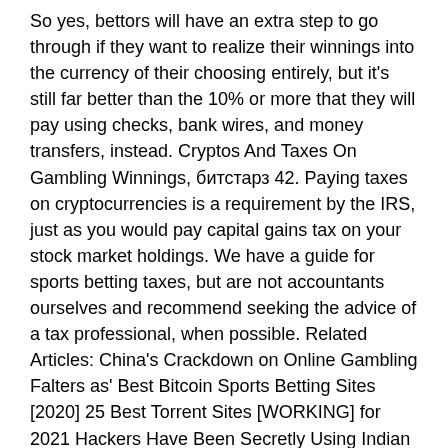So yes, bettors will have an extra step to go through if they want to realize their winnings into the currency of their choosing entirely, but it's still far better than the 10% or more that they will pay using checks, bank wires, and money transfers, instead. Cryptos And Taxes On Gambling Winnings, битстарз 42. Paying taxes on cryptocurrencies is a requirement by the IRS, just as you would pay capital gains tax on your stock market holdings. We have a guide for sports betting taxes, but are not accountants ourselves and recommend seeking the advice of a tax professional, when possible. Related Articles: China's Crackdown on Online Gambling Falters as' Best Bitcoin Sports Betting Sites [2020] 25 Best Torrent Sites [WORKING] for 2021 Hackers Have Been Secretly Using Indian Government' 6 Best Bitcoin & Cryptocurrency Indicators for' 12 Best Cryptocurrency Exchanges [2021] -